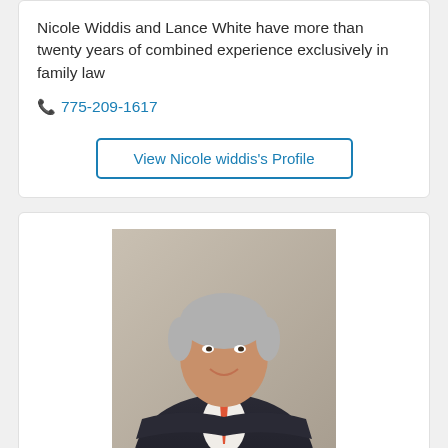Nicole Widdis and Lance White have more than twenty years of combined experience exclusively in family law
📞 775-209-1617
View Nicole widdis's Profile
[Figure (photo): Professional headshot of Leslie J. Shaw, an older man with grey hair wearing a dark suit and orange/red tie, arms crossed, smiling]
Leslie J. Shaw
Reno, NV 89501